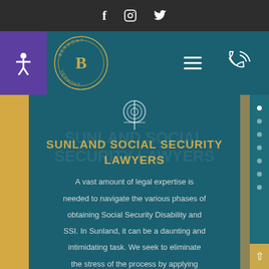f  ☐  🐦 (social media icons: Facebook, Instagram, Twitter)
[Figure (screenshot): Law firm navigation header with accessibility button, firm logo (B&MONT VERMONT crest), hamburger menu icon, and phone icon on teal background]
SUNLAND SOCIAL SECURITY LAWYERS
A vast amount of legal expertise is needed to navigate the various phases of obtaining Social Security Disability and SSI. In Sunland, it can be a daunting and intimidating task. We seek to eliminate the stress of the process by applying